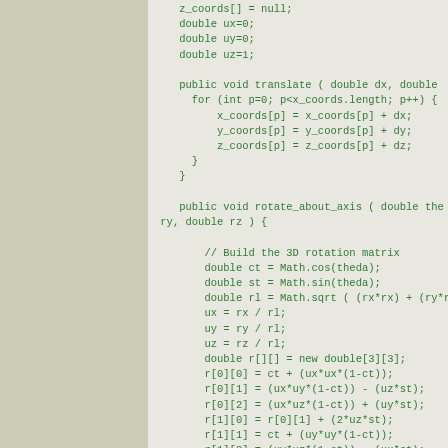[Figure (screenshot): Code snippet in Java showing a 3D rotation class with translate and rotate_about_axis methods, displayed with green monospace text on a light gray background.]